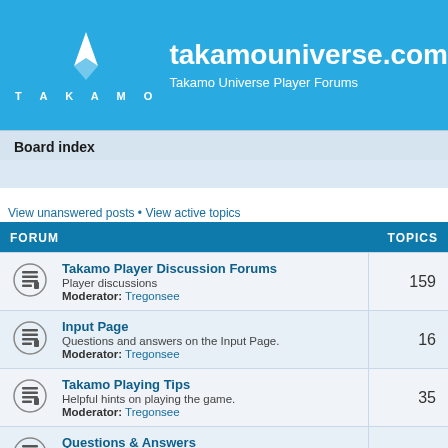[Figure (logo): Takamo Universe logo with white stylized bird/ship icon above text TAKAMO in spaced caps]
takamouniverse.com
Takamo Universe Player Forums
Board index
View unanswered posts • View active topics
| FORUM | TOPICS |
| --- | --- |
| Takamo Player Discussion Forums
Player discussions
Moderator: Tregonsee | 159 |
| Input Page
Questions and answers on the Input Page.
Moderator: Tregonsee | 16 |
| Takamo Playing Tips
Helpful hints on playing the game.
Moderator: Tregonsee | 35 |
| Questions & Answers
Submit your questions here.
Moderator: Tregonsee | 65 |
| News
Post news here. It can be about planets taken, achievements | 23 |